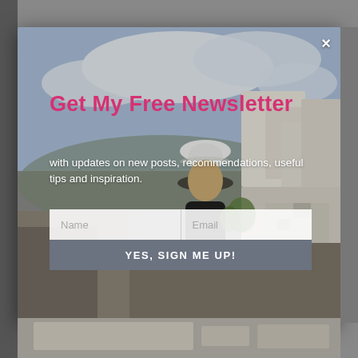[Figure (photo): Modal popup over a travel blog webpage. Background shows a Santorini-style photo with white buildings, blue sky, and a woman with a white hat. The modal contains a newsletter signup form.]
×
Get My Free Newsletter
with updates on new posts, recommendations, useful tips and inspiration.
Name
Email
YES, SIGN ME UP!